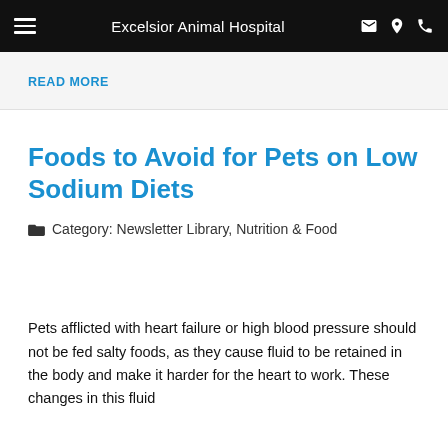Excelsior Animal Hospital
READ MORE
Foods to Avoid for Pets on Low Sodium Diets
Category: Newsletter Library, Nutrition & Food
Pets afflicted with heart failure or high blood pressure should not be fed salty foods, as they cause fluid to be retained in the body and make it harder for the heart to work. These changes in this fluid...